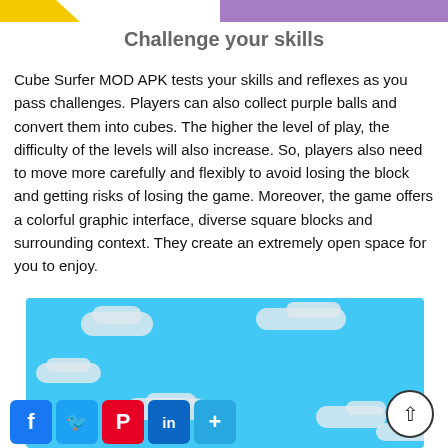[Figure (illustration): Top banner with yellow chevron shape on left and purple rectangle on right]
Challenge your skills
Cube Surfer MOD APK tests your skills and reflexes as you pass challenges. Players can also collect purple balls and convert them into cubes. The higher the level of play, the difficulty of the levels will also increase. So, players also need to move more carefully and flexibly to avoid losing the block and getting risks of losing the game. Moreover, the game offers a colorful graphic interface, diverse square blocks and surrounding context. They create an extremely open space for you to enjoy.
[Figure (screenshot): Game screenshot showing blue sky with white clouds]
[Figure (infographic): Social sharing buttons: Facebook, Twitter, Pinterest, LinkedIn, More; and a scroll-to-top arrow button]